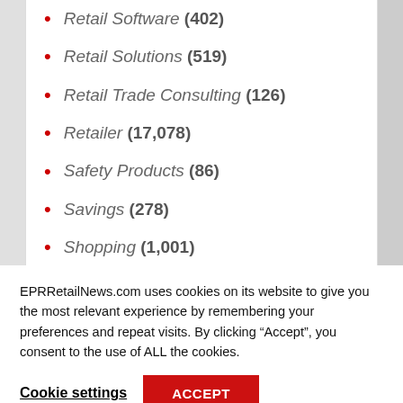Retail Software (402)
Retail Solutions (519)
Retail Trade Consulting (126)
Retailer (17,078)
Safety Products (86)
Savings (278)
Shopping (1,001)
Shops (1,082)
EPRRetailNews.com uses cookies on its website to give you the most relevant experience by remembering your preferences and repeat visits. By clicking “Accept”, you consent to the use of ALL the cookies.
Cookie settings
ACCEPT